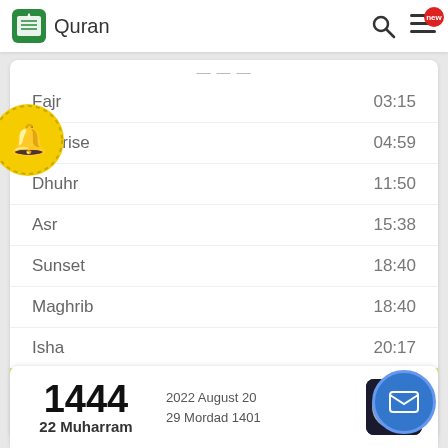Quran
| Prayer | Time |
| --- | --- |
| Fajr | 03:15 |
| Sunrise | 04:59 |
| Dhuhr | 11:50 |
| Asr | 15:38 |
| Sunset | 18:40 |
| Maghrib | 18:40 |
| Isha | 20:17 |
| Religious midnight | 23:50 |
prayer time is correct with approximately one minute
1444
22 Muharram
2022 August 20
29 Mordad 1401